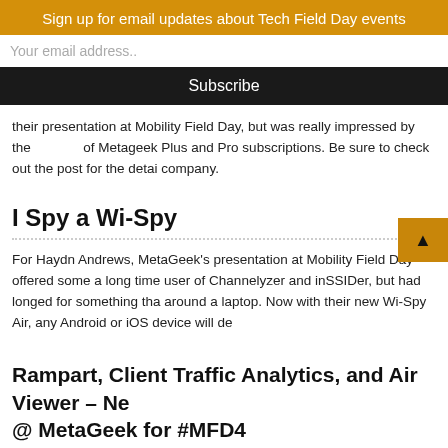Sign up for email updates about Tech Field Day events
Your email address..
Subscribe
their presentation at Mobility Field Day, but was really impressed by the of Metageek Plus and Pro subscriptions. Be sure to check out the post for the detai company.
I Spy a Wi-Spy
For Haydn Andrews, MetaGeek's presentation at Mobility Field Day offered some a long time user of Channelyzer and inSSIDer, but had longed for something tha around a laptop. Now with their new Wi-Spy Air, any Android or iOS device will de
Rampart, Client Traffic Analytics, and Air Viewer – Ne @ MetaGeek for #MFD4